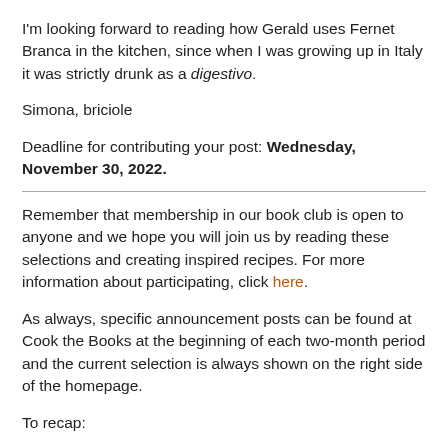I'm looking forward to reading how Gerald uses Fernet Branca in the kitchen, since when I was growing up in Italy it was strictly drunk as a digestivo.
Simona, briciole
Deadline for contributing your post: Wednesday, November 30, 2022.
Remember that membership in our book club is open to anyone and we hope you will join us by reading these selections and creating inspired recipes. For more information about participating, click here.
As always, specific announcement posts can be found at Cook the Books at the beginning of each two-month period and the current selection is always shown on the right side of the homepage.
To recap: